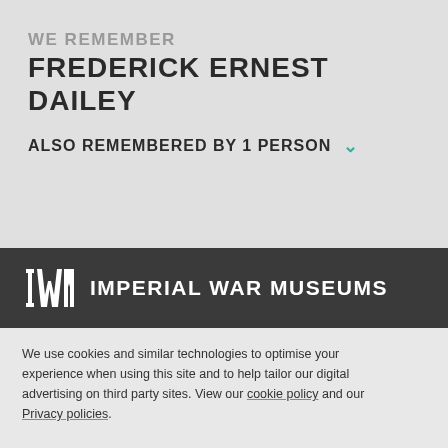WE REMEMBER
FREDERICK ERNEST DAILEY
ALSO REMEMBERED BY 1 PERSON
[Figure (logo): IWM Imperial War Museums logo — white IWM letters on dark bar with text IMPERIAL WAR MUSEUMS]
We use cookies and similar technologies to optimise your experience when using this site and to help tailor our digital advertising on third party sites. View our cookie policy and our Privacy policies.